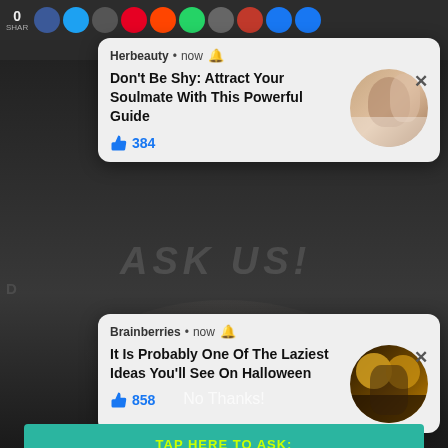[Figure (screenshot): Dark webpage background with blurred face and partial text 'ASK US' visible behind notification cards]
Herbeauty • now 🔔
Don't Be Shy: Attract Your Soulmate With This Powerful Guide
384
Brainberries • now 🔔
It Is Probably One Of The Laziest Ideas You'll See On Halloween
858
TAP HERE TO ASK:
No Thanks!